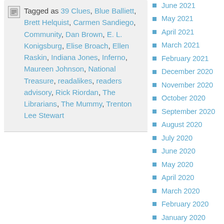Tagged as 39 Clues, Blue Balliett, Brett Helquist, Carmen Sandiego, Community, Dan Brown, E. L. Konigsburg, Elise Broach, Ellen Raskin, Indiana Jones, Inferno, Maureen Johnson, National Treasure, readalikes, readers advisory, Rick Riordan, The Librarians, The Mummy, Trenton Lee Stewart
June 2021
May 2021
April 2021
March 2021
February 2021
December 2020
November 2020
October 2020
September 2020
August 2020
July 2020
June 2020
May 2020
April 2020
March 2020
February 2020
January 2020
December 2019